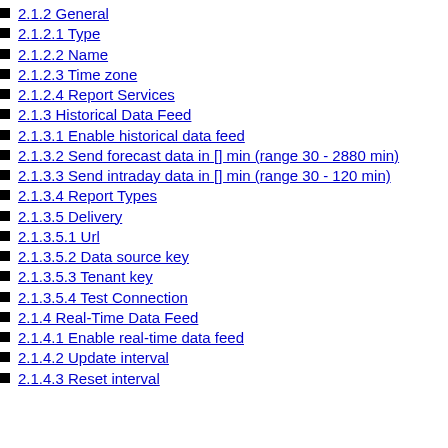2.1.2 General
2.1.2.1 Type
2.1.2.2 Name
2.1.2.3 Time zone
2.1.2.4 Report Services
2.1.3 Historical Data Feed
2.1.3.1 Enable historical data feed
2.1.3.2 Send forecast data in [] min (range 30 - 2880 min)
2.1.3.3 Send intraday data in [] min (range 30 - 120 min)
2.1.3.4 Report Types
2.1.3.5 Delivery
2.1.3.5.1 Url
2.1.3.5.2 Data source key
2.1.3.5.3 Tenant key
2.1.3.5.4 Test Connection
2.1.4 Real-Time Data Feed
2.1.4.1 Enable real-time data feed
2.1.4.2 Update interval
2.1.4.3 Reset interval